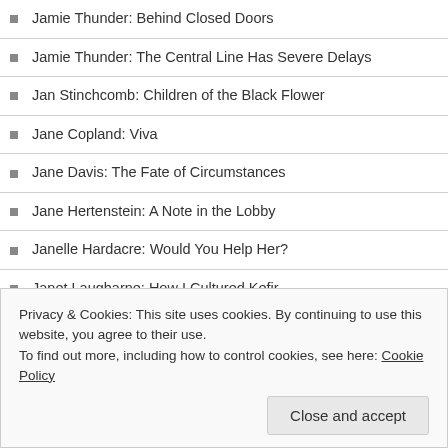Jamie Thunder: Behind Closed Doors
Jamie Thunder: The Central Line Has Severe Delays
Jan Stinchcomb: Children of the Black Flower
Jane Copland: Viva
Jane Davis: The Fate of Circumstances
Jane Hertenstein: A Note in the Lobby
Janelle Hardacre: Would You Help Her?
Janet Laugharne: How I Cultured Kefir
Janice Leagra: Milestones
Jason Beech: Loose Words
Jason Beech: The Forgotten Man
Privacy & Cookies: This site uses cookies. By continuing to use this website, you agree to their use.
To find out more, including how to control cookies, see here: Cookie Policy
Close and accept